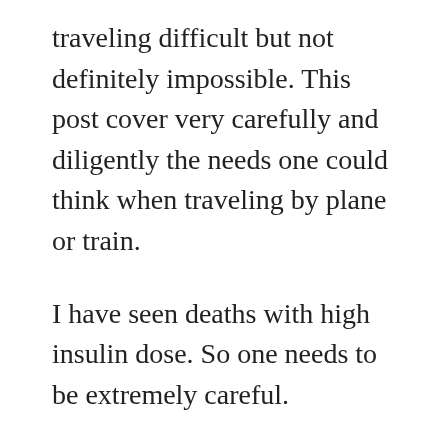traveling difficult but not definitely impossible. This post cover very carefully and diligently the needs one could think when traveling by plane or train.
I have seen deaths with high insulin dose. So one needs to be extremely careful.
If you are traveling by car, locate pharmacies along the road prior to your travel. Maybe chose a well-traveled route having food stops